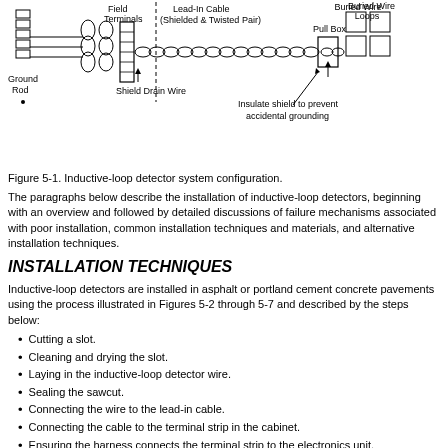[Figure (schematic): Schematic diagram of an inductive-loop detector system configuration showing Ground Rod, Shield Drain Wire, Field Terminals, Lead-In Cable (Shielded & Twisted Pair), Pull Box, Buried Wire Loops, and a note to insulate shield to prevent accidental grounding.]
Figure 5-1. Inductive-loop detector system configuration.
The paragraphs below describe the installation of inductive-loop detectors, beginning with an overview and followed by detailed discussions of failure mechanisms associated with poor installation, common installation techniques and materials, and alternative installation techniques.
INSTALLATION TECHNIQUES
Inductive-loop detectors are installed in asphalt or portland cement concrete pavements using the process illustrated in Figures 5-2 through 5-7 and described by the steps below:
Cutting a slot.
Cleaning and drying the slot.
Laying in the inductive-loop detector wire.
Sealing the sawcut.
Connecting the wire to the lead-in cable.
Connecting the cable to the terminal strip in the cabinet.
Ensuring the harness connects the terminal strip to the electronics unit.